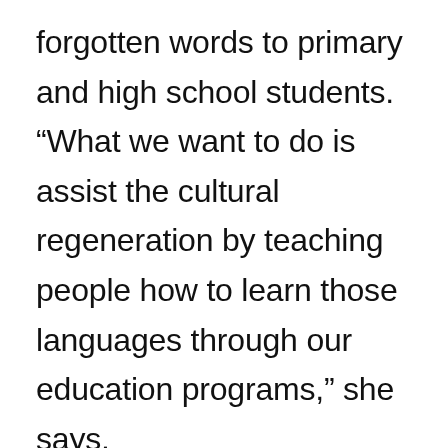forgotten words to primary and high school students. “What we want to do is assist the cultural regeneration by teaching people how to learn those languages through our education programs,” she says. Susan Poetsch, a linguist and